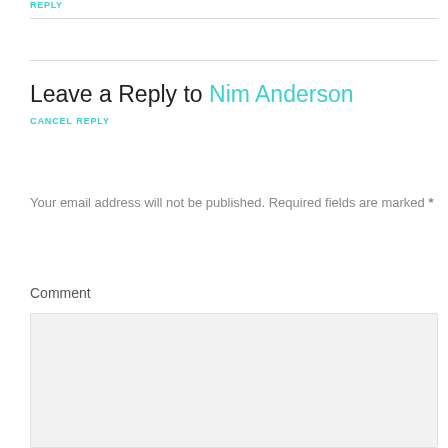REPLY
Leave a Reply to Nim Anderson
CANCEL REPLY
Your email address will not be published. Required fields are marked *
Comment